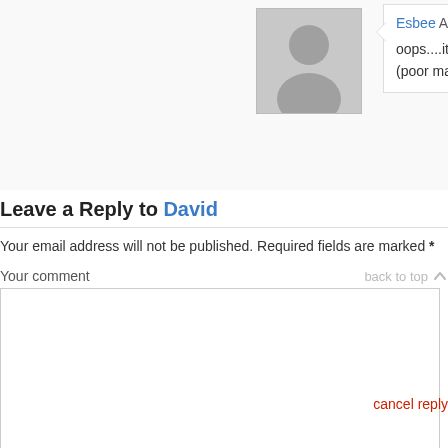[Figure (illustration): Default user avatar placeholder image - gray silhouette of a person on light gray background]
Esbee August 7, 2012
oops....it was MAN'S biggest sin, not ma...
(poor ma never had time to sin, taking ca...
Leave a Reply to David
cancel reply
Your email address will not be published. Required fields are marked *
Your comment
back to top
Your Name *